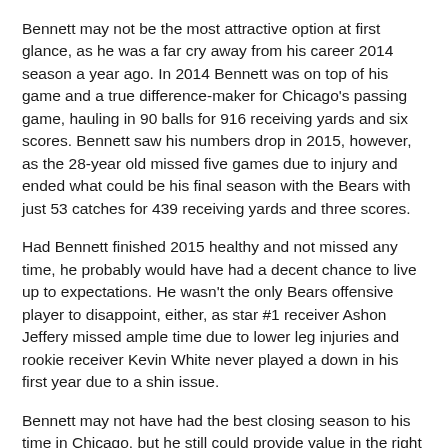Bennett may not be the most attractive option at first glance, as he was a far cry away from his career 2014 season a year ago. In 2014 Bennett was on top of his game and a true difference-maker for Chicago's passing game, hauling in 90 balls for 916 receiving yards and six scores. Bennett saw his numbers drop in 2015, however, as the 28-year old missed five games due to injury and ended what could be his final season with the Bears with just 53 catches for 439 receiving yards and three scores.
Had Bennett finished 2015 healthy and not missed any time, he probably would have had a decent chance to live up to expectations. He wasn't the only Bears offensive player to disappoint, either, as star #1 receiver Ashon Jeffery missed ample time due to lower leg injuries and rookie receiver Kevin White never played a down in his first year due to a shin issue.
Bennett may not have had the best closing season to his time in Chicago, but he still could provide value in the right situation. A more than capable blocker, Bennett is also a reliable possession receiver who can win in the red-zone due to elite size and a good catch radius. The big question is, what team is a tight end away from doing serious damage in the NFL and will they pay what is left on his contract? There are several teams that could (or should)